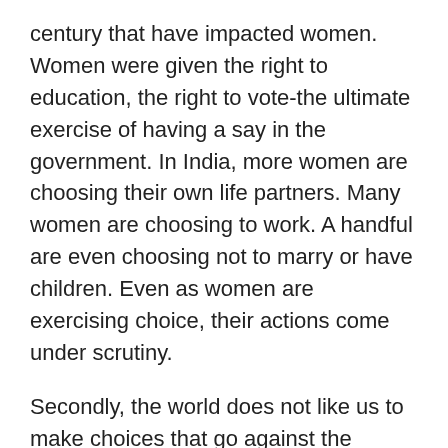century that have impacted women. Women were given the right to education, the right to vote-the ultimate exercise of having a say in the government. In India, more women are choosing their own life partners. Many women are choosing to work. A handful are even choosing not to marry or have children. Even as women are exercising choice, their actions come under scrutiny.
Secondly, the world does not like us to make choices that go against the prevailing norms. As long as it adheres to expectations, we are quite happy to approve of her decisions. If any choice is out of the ordinary, it seems as though the whole social fabric of the nation is threatened and we get into a tizzy about these crazy dangerous women.
Sania Mirza's choice of a spouse...